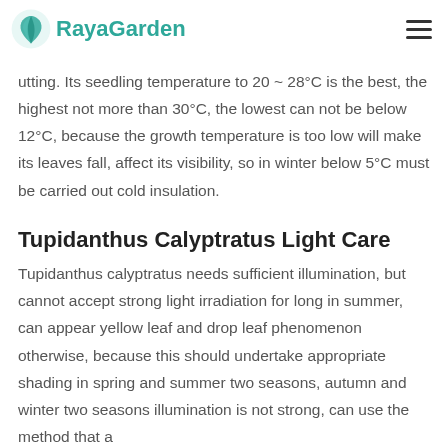RayaGarden
utting. Its seedling temperature to 20 ~ 28°C is the best, the highest not more than 30°C, the lowest can not be below 12°C, because the growth temperature is too low will make its leaves fall, affect its visibility, so in winter below 5°C must be carried out cold insulation.
Tupidanthus Calyptratus Light Care
Tupidanthus calyptratus needs sufficient illumination, but cannot accept strong light irradiation for long in summer, can appear yellow leaf and drop leaf phenomenon otherwise, because this should undertake appropriate shading in spring and summer two seasons, autumn and winter two seasons illumination is not strong, can use the method that a